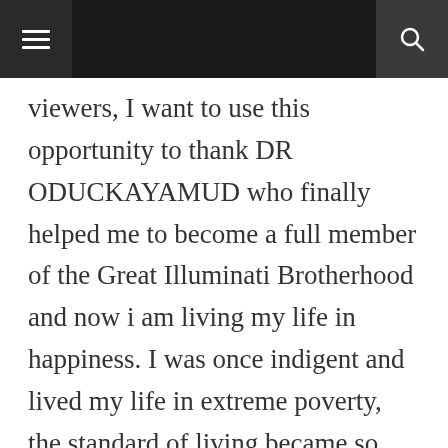[navigation bar with hamburger menu and search icon]
viewers, I want to use this opportunity to thank DR ODUCKAYAMUD who finally helped me to become a full member of the Great Illuminati Brotherhood and now i am living my life in happiness. I was once indigent and lived my life in extreme poverty, the standard of living became so poor and low that I even thought of killing myself, I was deeply strangled up by poverty and I had no body to help me, to eat was a problem to me and my family. Until I met with